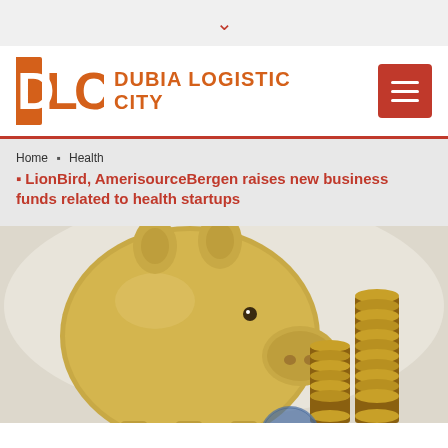▾
[Figure (logo): DLC Dubia Logistic City logo with orange DLC letters and orange text]
Home ❯ Health ❯ LionBird, AmerisourceBergen raises new business funds related to health startups
[Figure (photo): Gold piggy bank with stacked coins in the foreground, light background]